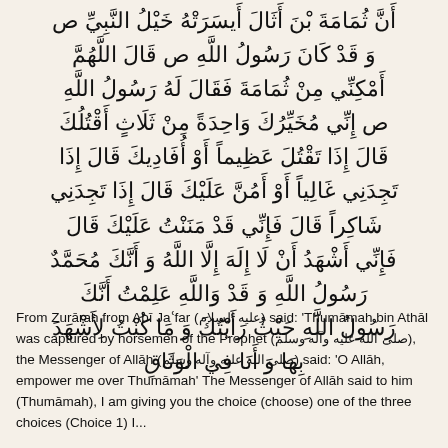Arabic text passage (right-to-left) relating to Thumamah bin Athal and the Prophet
From Zurārah from Abī Jaʿfar (عليه السلام) said: 'Thumāmah bin Athāl was captured by horsemen of the Prophet (صلى الله عليه وآله وسلم), the Messenger of Allāh (صلى الله عليه وآله وسلم) said: 'O Allāh, empower me over Thumāmah' The Messenger of Allāh said to him (Thumāmah), I am giving you the choice (choose) one of the three choices (Choice 1) I...